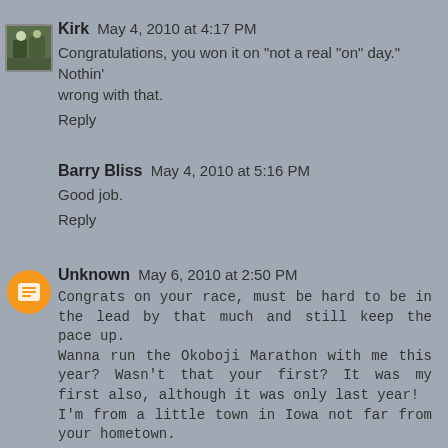Kirk May 4, 2010 at 4:17 PM
Congratulations, you won it on "not a real "on" day." Nothin' wrong with that.
Reply
Barry Bliss May 4, 2010 at 5:16 PM
Good job.
Reply
Unknown May 6, 2010 at 2:50 PM
Congrats on your race, must be hard to be in the lead by that much and still keep the pace up.
Wanna run the Okoboji Marathon with me this year? Wasn't that your first? It was my first also, although it was only last year!
I'm from a little town in Iowa not far from your hometown.